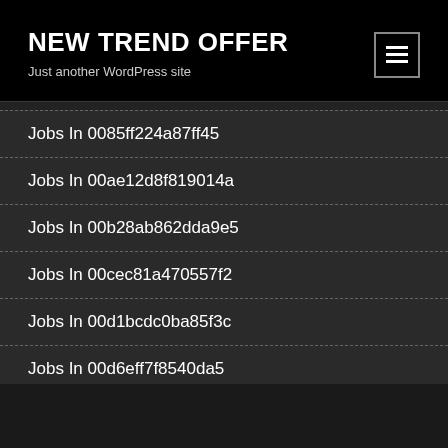NEW TREND OFFER
Just another WordPress site
Jobs In 0085ff224a87ff45
Jobs In 00ae12d8f819014a
Jobs In 00b28ab862dda9e5
Jobs In 00cec81a470557f2
Jobs In 00d1bcdc0ba85f3c
Jobs In 00d6eff7f8540da5